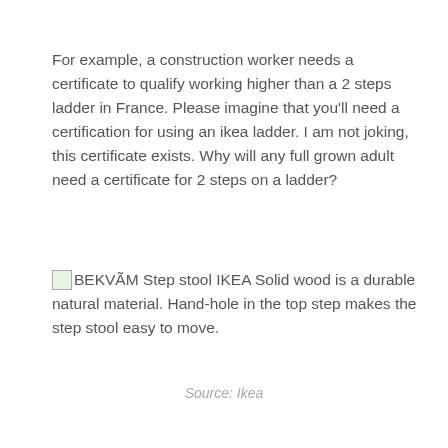For example, a construction worker needs a certificate to qualify working higher than a 2 steps ladder in France. Please imagine that you'll need a certification for using an ikea ladder. I am not joking, this certificate exists. Why will any full grown adult need a certificate for 2 steps on a ladder?
BEKVÃM Step stool IKEA Solid wood is a durable natural material. Hand-hole in the top step makes the step stool easy to move.
Source: Ikea